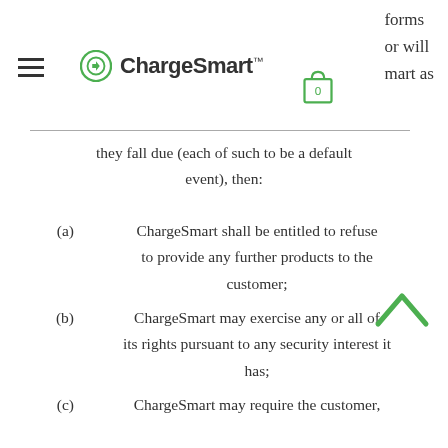ChargeSmart — forms or will mart as
they fall due (each of such to be a default event), then:
(a)   ChargeSmart shall be entitled to refuse to provide any further products to the customer;
(b)   ChargeSmart may exercise any or all of its rights pursuant to any security interest it has;
(c)   ChargeSmart may require the customer, at its expense, to promptly return to ChargeSmart all products supplied by ChargeSmart which have not been fully paid for; and
(d)   ChargeSmart may by written notice to